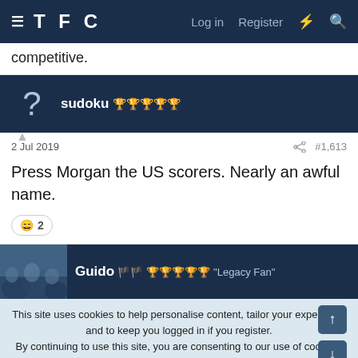TFC  Log in  Register
competitive.
sudoku 🏆🏆🏆🏆🏆
2 Jul 2019  #1,613
Press Morgan the US scorers. Nearly an awful name.
😄 2
Guido 🏆🏆🏆🏆🏆 "Legacy Fan"
This site uses cookies to help personalise content, tailor your experience and to keep you logged in if you register.
By continuing to use this site, you are consenting to our use of cookies.
✓ ACCEPT   LEARN MORE...